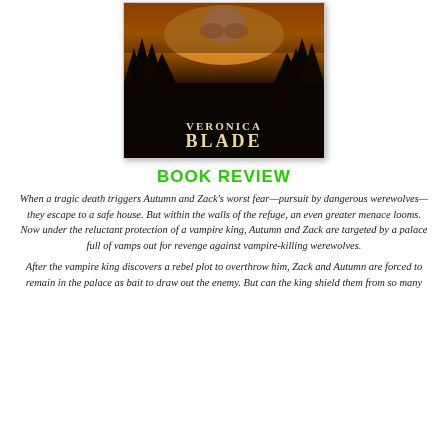[Figure (illustration): Book cover for a novel by Veronica Blade, showing a dark atmospheric scene with silhouetted trees against an orange sunset sky, with the author name VERONICA BLADE in large serif letters.]
BOOK REVIEW
When a tragic death triggers Autumn and Zack's worst fear—pursuit by dangerous werewolves—they escape to a safe house. But within the walls of the refuge, an even greater menace looms. Now under the reluctant protection of a vampire king, Autumn and Zack are targeted by a palace full of vamps out for revenge against vampire-killing werewolves.
After the vampire king discovers a rebel plot to overthrow him, Zack and Autumn are forced to remain in the palace as bait to draw out the enemy. But can the king shield them from so many